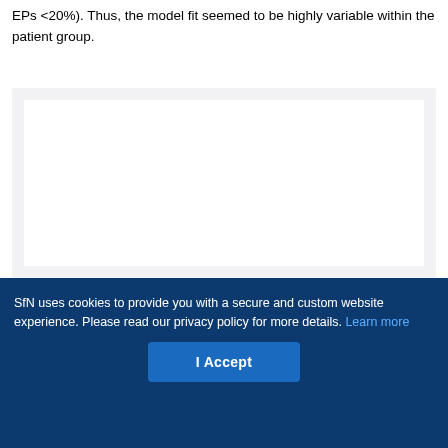EPs <20%). Thus, the model fit seemed to be highly variable within the patient group.
[Figure (other): A blank white figure area within a light gray container box, representing a figure region with no visible chart content loaded.]
SfN uses cookies to provide you with a secure and custom website experience. Please read our privacy policy for more details. Learn more